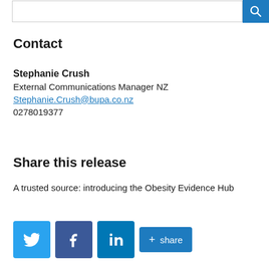[Figure (other): Search bar with blue search button icon on the right]
Contact
Stephanie Crush
External Communications Manager NZ
Stephanie.Crush@bupa.co.nz
0278019377
Share this release
A trusted source: introducing the Obesity Evidence Hub
[Figure (other): Social share buttons: Twitter (blue bird icon), Facebook (dark blue f icon), LinkedIn (blue in icon), and a +share button]